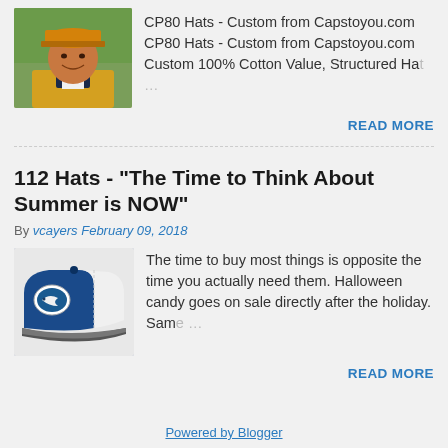[Figure (photo): Man wearing a yellow/orange baseball cap, smiling outdoors]
CP80 Hats - Custom from Capstoyou.com
CP80 Hats - Custom from Capstoyou.com
Custom 100% Cotton Value, Structured Hat …
READ MORE
112 Hats - "The Time to Think About Summer is NOW"
By vcayers February 09, 2018
[Figure (photo): Blue and white trucker-style baseball cap with a logo patch]
The time to buy most things is opposite the time you actually need them. Halloween candy goes on sale directly after the holiday. Sam …
READ MORE
Powered by Blogger